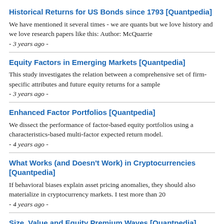Historical Returns for US Bonds since 1793 [Quantpedia]
We have mentioned it several times - we are quants but we love history and we love research papers like this: Author: McQuarrie
- 3 years ago -
Equity Factors in Emerging Markets [Quantpedia]
This study investigates the relation between a comprehensive set of firm-specific attributes and future equity returns for a sample
- 3 years ago -
Enhanced Factor Portfolios [Quantpedia]
We dissect the performance of factor-based equity portfolios using a characteristics-based multi-factor expected return model.
- 4 years ago -
What Works (and Doesn't Work) in Cryptocurrencies [Quantpedia]
If behavioral biases explain asset pricing anomalies, they should also materialize in cryptocurrency markets. I test more than 20
- 4 years ago -
Size, Value and Equity Premium Waves [Quantpedia]
This paper examines the link between microeconomic uncertainty